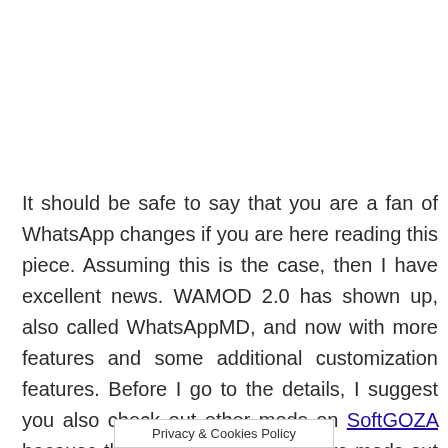It should be safe to say that you are a fan of WhatsApp changes if you are here reading this piece. Assuming this is the case, then I have excellent news. WAMOD 2.0 has shown up, also called WhatsAppMD, and now with more features and some additional customization features. Before I go to the details, I suggest you also check out other mods on SoftGOZA because there are indeed a lot more mods out there.
Privacy & Cookies Policy